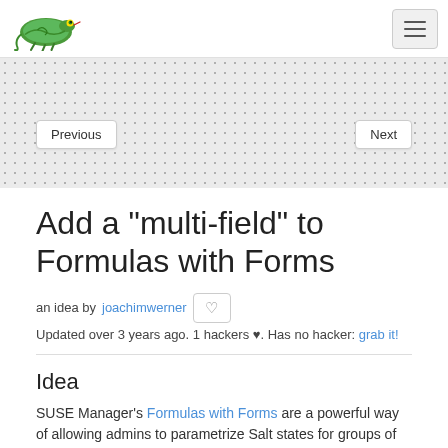SUSE Hack Week — navigation header with logo and menu button
Previous
Next
Add a "multi-field" to Formulas with Forms
an idea by joachimwerner ♥
Updated over 3 years ago. 1 hackers ♥. Has no hacker: grab it!
Idea
SUSE Manager's Formulas with Forms are a powerful way of allowing admins to parametrize Salt states for groups of systems or individual systems.